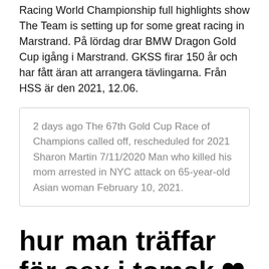Racing World Championship full highlights show The Team is setting up for some great racing in Marstrand. På lördag drar BMW Dragon Gold Cup igång i Marstrand. GKSS firar 150 år och har fått äran att arrangera tävlingarna. Från HSS är den 2021, 12.06.
2 days ago The 67th Gold Cup Race of Champions called off, rescheduled for 2021 Sharon Martin 7/11/2020 Man who killed his mom arrested in NYC attack on 65-year-old Asian woman February 10, 2021.
hur man träffar för sex i tomsk 🖤